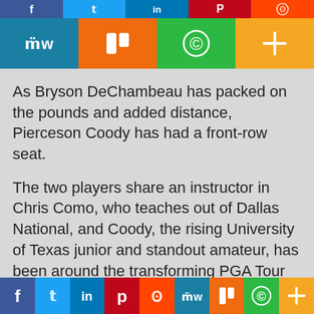[Figure (other): Social sharing buttons bar (top row, partially cropped): Facebook, Twitter, LinkedIn, Pinterest, Reddit]
[Figure (other): Social sharing buttons bar (second row): MeWe, Mix, WhatsApp, More (plus icon)]
As Bryson DeChambeau has packed on the pounds and added distance, Pierceson Coody has had a front-row seat.
The two players share an instructor in Chris Como, who teaches out of Dallas National, and Coody, the rising University of Texas junior and standout amateur, has been around the transforming PGA Tour pro quite a bit these past few months.
“Just to grasp how much weight and speed he put on in a matter of months, it’s crazy how dedicated he was to it,” Coody said. “It’s definitely something I would try to do,
[Figure (other): Social sharing buttons bar (bottom): Facebook, Twitter, LinkedIn, Pinterest, Reddit, MeWe, Mix, WhatsApp, More]